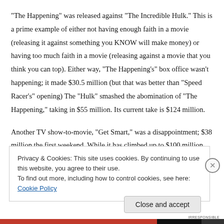“The Happening” was released against “The Incredible Hulk.” This is a prime example of either not having enough faith in a movie (releasing it against something you KNOW will make money) or having too much faith in a movie (releasing against a movie that you think you can top). Either way, “The Happening’s” box office wasn’t happening; it made $30.5 million (but that was better than “Speed Racer’s” opening) The “Hulk” smashed the abomination of “The Happening,” taking in $55 million. Its current take is $124 million.
Another TV show-to-movie, “Get Smart,” was a disappointment; $38 million the first weekend. While it has climbed up to $100 million, it’ll probably make
Privacy & Cookies: This site uses cookies. By continuing to use this website, you agree to their use.
To find out more, including how to control cookies, see here: Cookie Policy
Close and accept